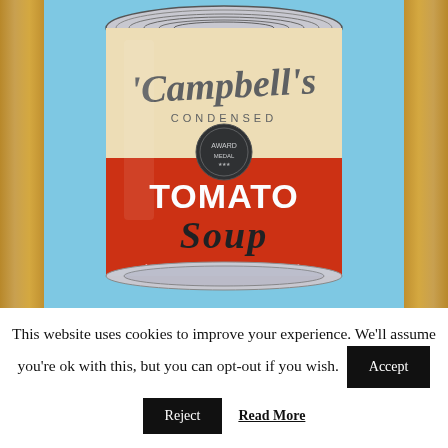[Figure (photo): A photo of Andy Warhol's Campbell's Condensed Tomato Soup can artwork displayed in a wooden glass cabinet. The can has a blue background, cream/white upper section with red script 'Campbell's' lettering, the word 'CONDENSED' in small caps, a red lower section with 'TOMATO SOUP' in large bold white and dark letters, and a decorative medal emblem in the center.]
This website uses cookies to improve your experience. We'll assume you're ok with this, but you can opt-out if you wish.
Accept
Reject
Read More